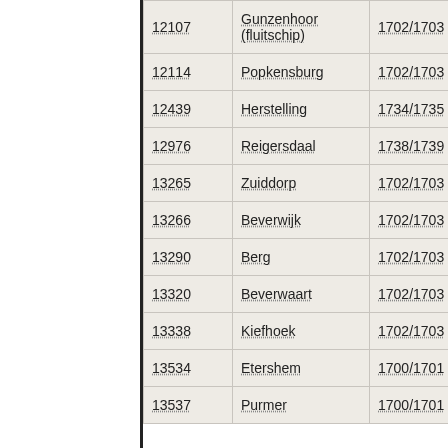| ID | Name | Year | Date |
| --- | --- | --- | --- |
| 12107 | Gunzenhoor (fluitschip) | 1702/1703 | 5-7- |
| 12114 | Popkensburg | 1702/1703 | 5-7- |
| 12439 | Herstelling | 1734/1735 | - |
| 12976 | Reigersdaal | 1738/1739 | 25-8- |
| 13265 | Zuiddorp | 1702/1703 | 6-8- |
| 13266 | Beverwijk | 1702/1703 | 6-8- |
| 13290 | Berg | 1702/1703 | 31-8- |
| 13320 | Beverwaart | 1702/1703 | 31-8- |
| 13338 | Kiefhoek | 1702/1703 | 30-6- |
| 13534 | Etershem | 1700/1701 | - |
| 13537 | Purmer | 1700/1701 | - |